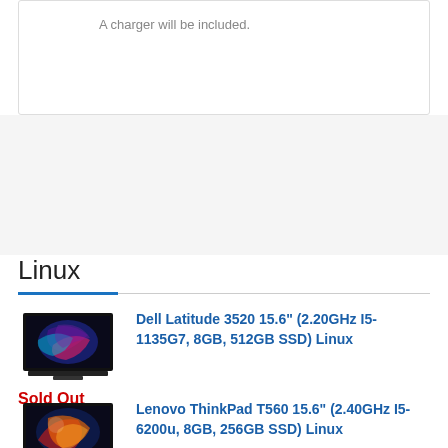A charger will be included.
Linux
Dell Latitude 3520 15.6" (2.20GHz I5-1135G7, 8GB, 512GB SSD) Linux
Sold Out
Lenovo ThinkPad T560 15.6" (2.40GHz I5-6200u, 8GB, 256GB SSD) Linux